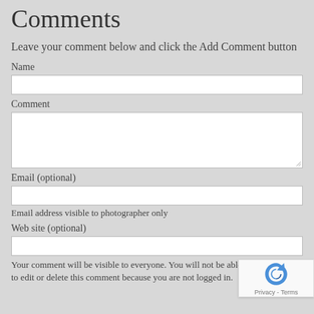Comments
Leave your comment below and click the Add Comment button
Name
Comment
Email (optional)
Email address visible to photographer only
Web site (optional)
Your comment will be visible to everyone. You will not be able to edit or delete this comment because you are not logged in.